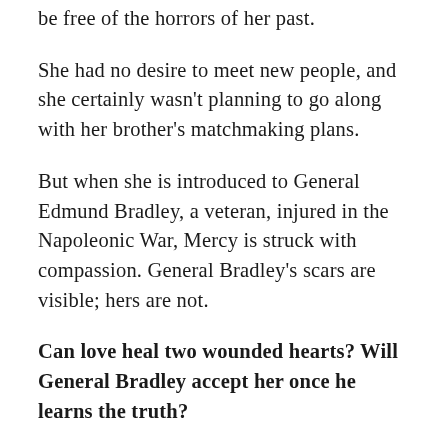be free of the horrors of her past.
She had no desire to meet new people, and she certainly wasn't planning to go along with her brother's matchmaking plans.
But when she is introduced to General Edmund Bradley, a veteran, injured in the Napoleonic War, Mercy is struck with compassion. General Bradley's scars are visible; hers are not.
Can love heal two wounded hearts? Will General Bradley accept her once he learns the truth?
Or will Mercy be forced to marry the horrid Lord Vardemere, a man even more